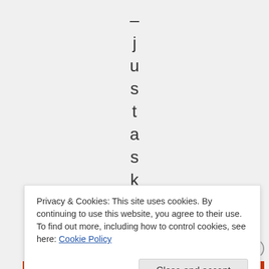[Figure (other): Vertically arranged individual characters spelling out '– justaskth' stacked top to bottom, each character on its own line, centered in the upper portion of the page on a light gray background]
Privacy & Cookies: This site uses cookies. By continuing to use this website, you agree to their use.
To find out more, including how to control cookies, see here: Cookie Policy
Close and accept